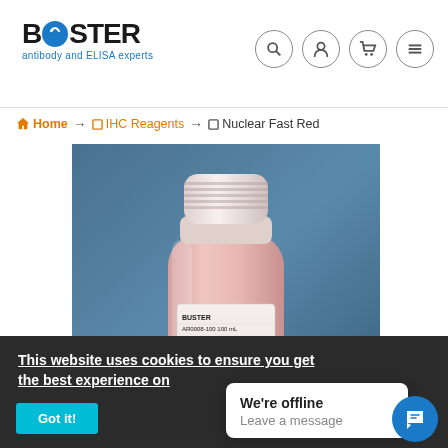BOSTER antibody and ELISA experts — navigation header with search, account, cart, and menu icons
Home → IHC Reagents → Nuclear Fast Red
[Figure (photo): Product photo of a bottle of Nuclear Fast Red (AR0008-100, 100 mL) by Boster, shown against a dark blue background. The bottle is white/translucent with a pink solution inside and a white cap.]
This website uses cookies to ensure you get the best experience on
Got it!
We're offline
Leave a message